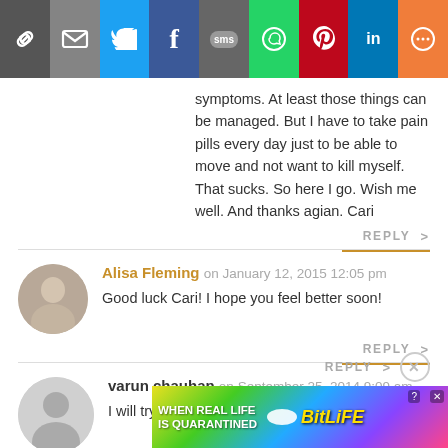[Figure (infographic): Share bar with icons: link, mail, Twitter, Facebook, SMS, WhatsApp, Pinterest, LinkedIn, More]
symptoms. At least those things can be managed. But I have to take pain pills every day just to be able to move and not want to kill myself. That sucks. So here I go. Wish me well. And thanks agian. Cari
REPLY >
Alisa Fleming on January 12, 2015 12:05 pm
Good luck Cari! I hope you feel better soon!
REPLY >
varun chauhan on September 25, 2014 9:09 am
I will try 2 go diary free and see how I feel..thanks
[Figure (infographic): Ad banner: WHEN REAL LIFE IS QUARANTINED - BitLife game advertisement]